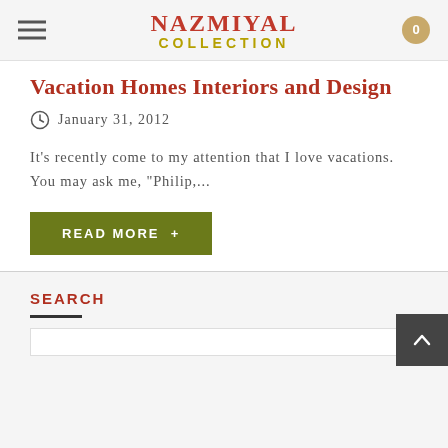Nazmiyal Collection
Vacation Homes Interiors and Design
January 31, 2012
It's recently come to my attention that I love vacations. You may ask me, "Philip,...
READ MORE +
SEARCH